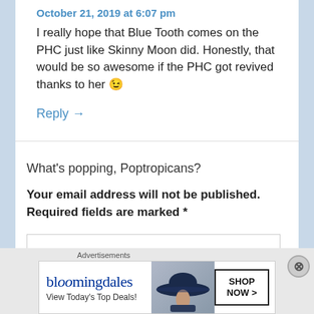October 21, 2019 at 6:07 pm
I really hope that Blue Tooth comes on the PHC just like Skinny Moon did. Honestly, that would be so awesome if the PHC got revived thanks to her 😉
Reply →
What's popping, Poptropicans?
Your email address will not be published. Required fields are marked *
[Figure (screenshot): Bloomingdale's advertisement banner with logo, 'View Today's Top Deals!' text, a woman in a hat, and a 'SHOP NOW >' button]
Advertisements